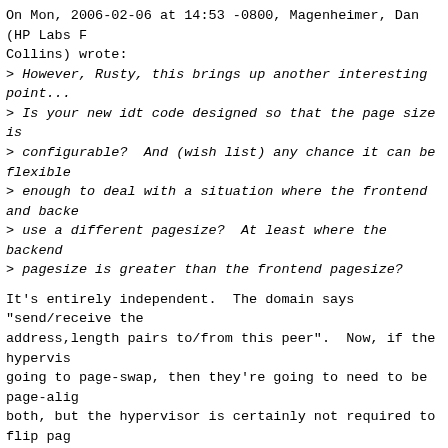On Mon, 2006-02-06 at 14:53 -0800, Magenheimer, Dan (HP Labs F
Collins) wrote:
> However, Rusty, this brings up another interesting point...
> Is your new idt code designed so that the page size is
> configurable?  And (wish list) any chance it can be flexible
> enough to deal with a situation where the frontend and backe
> use a different pagesize?  At least where the backend
> pagesize is greater than the frontend pagesize?
It's entirely independent.  The domain says "send/receive the
address,length pairs to/from this peer".  Now, if the hypervis
going to page-swap, then they're going to need to be page-alig
both, but the hypervisor is certainly not required to flip pag
current implementation simply does a memcpy.
Cheers,
Rusty.
--
 ccontrol: http://ozlabs.org/~rusty/ccontrol
Xen-devel mailing list
Xen-devel@xxxxxxxxxxxxxxxxxx
http://lists.xensource.com/xen-devel